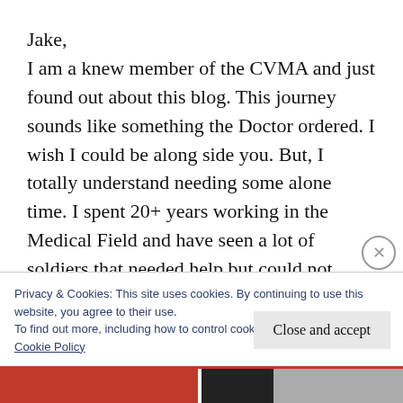Jake,
I am a knew member of the CVMA and just found out about this blog. This journey sounds like something the Doctor ordered. I wish I could be along side you. But, I totally understand needing some alone time. I spent 20+ years working in the Medical Field and have seen a lot of soldiers that needed help but could not always find it. This sounds and looks like it could be a great outlet for you. Reading
Privacy & Cookies: This site uses cookies. By continuing to use this website, you agree to their use.
To find out more, including how to control cookies, see here:
Cookie Policy
Close and accept